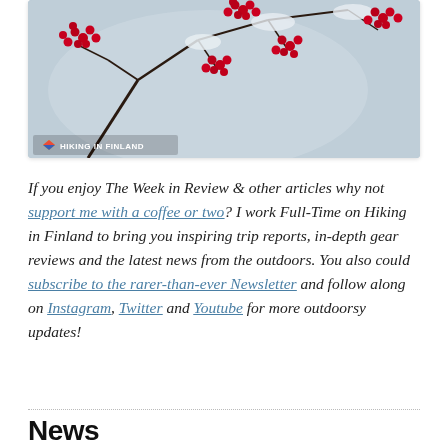[Figure (photo): Photo of red berries on snowy branches against a pale blue-grey winter sky, with a 'Hiking in Finland' watermark logo in the bottom left corner.]
If you enjoy The Week in Review & other articles why not support me with a coffee or two? I work Full-Time on Hiking in Finland to bring you inspiring trip reports, in-depth gear reviews and the latest news from the outdoors. You also could subscribe to the rarer-than-ever Newsletter and follow along on Instagram, Twitter and Youtube for more outdoorsy updates!
News